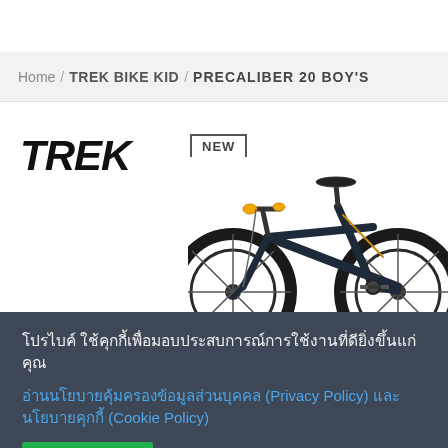Home / TREK BIKE KID / PRECALIBER 20 BOY'S
[Figure (logo): TREK brand logo in bold italic black text with NEW badge]
[Figure (photo): Partial view of a Trek Precaliber 20 Boy's bicycle, dark navy/black frame with gold accents, showing front fork, handlebar with yellow grips, and front wheel]
โปรไบค์ ใช้คุกกี้เพื่อมอบประสบการณ์การใช้งานที่ดียิ่งขึ้นแก่คุณ
อ่านนโยบายคุ้มครองข้อมูลส่วนบุคคล (Privacy Policy) และ นโยบายคุกกี้ (Cookie Policy)
ฉันยอมรับ